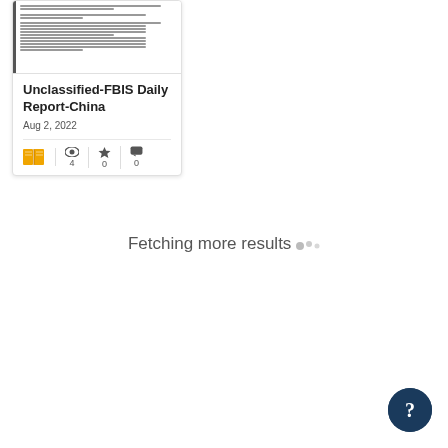[Figure (screenshot): Thumbnail preview of a document page showing text lines in a table-of-contents style layout]
Unclassified-FBIS Daily Report-China
Aug 2, 2022
[Figure (infographic): Card stats row: book icon, eye icon with count 4, star icon with count 0, chat icon with count 0]
Fetching more results